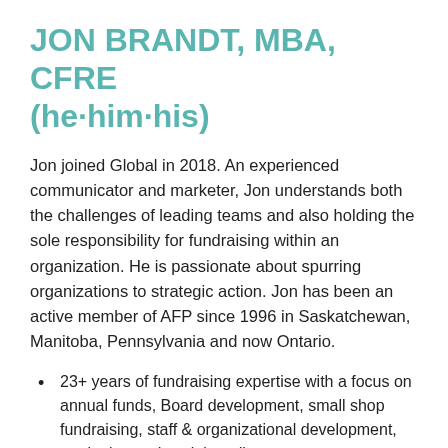JON BRANDT, MBA, CFRE (he·him·his)
Jon joined Global in 2018. An experienced communicator and marketer, Jon understands both the challenges of leading teams and also holding the sole responsibility for fundraising within an organization. He is passionate about spurring organizations to strategic action. Jon has been an active member of AFP since 1996 in Saskatchewan, Manitoba, Pennsylvania and now Ontario.
23+ years of fundraising expertise with a focus on annual funds, Board development, small shop fundraising, staff & organizational development, marketing and social media.
Primary focus: Foundations, faith-based, social services, international development.
Based in Toronto, ON.